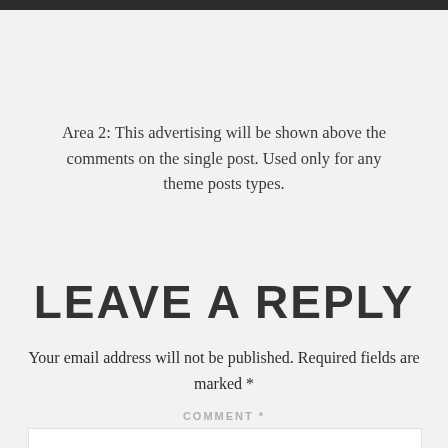Area 2: This advertising will be shown above the comments on the single post. Used only for any theme posts types.
LEAVE A REPLY
Your email address will not be published. Required fields are marked *
COMMENT *